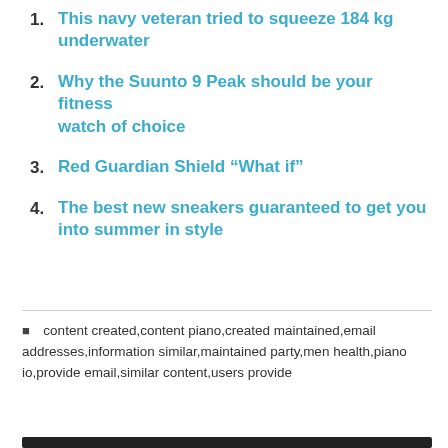1. This navy veteran tried to squeeze 184 kg underwater
2. Why the Suunto 9 Peak should be your fitness watch of choice
3. Red Guardian Shield “What if”
4. The best new sneakers guaranteed to get you into summer in style
content created,content piano,created maintained,email addresses,information similar,maintained party,men health,piano io,provide email,similar content,users provide